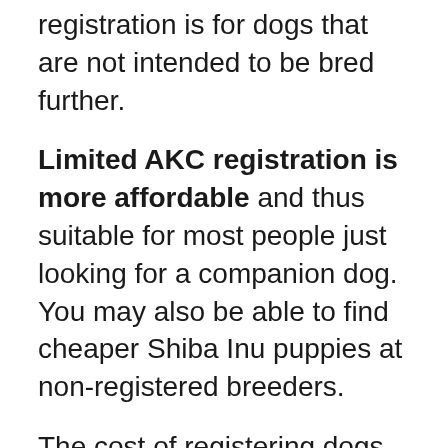registration is for dogs that are not intended to be bred further.
Limited AKC registration is more affordable and thus suitable for most people just looking for a companion dog. You may also be able to find cheaper Shiba Inu puppies at non-registered breeders.
The cost of registering dogs is high, which affects the price but also, be wary of buying a Shiba Inu puppy from these places, as they could be backyard